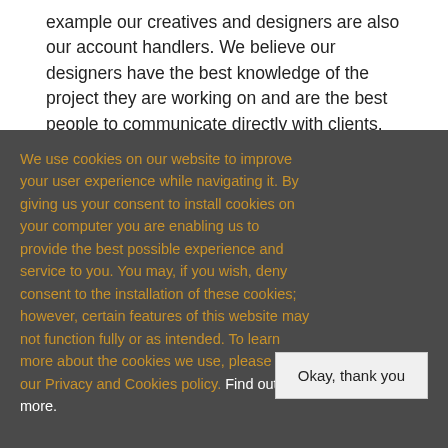example our creatives and designers are also our account handlers. We believe our designers have the best knowledge of the project they are working on and are the best people to communicate directly with clients. Flexible working is our mantra.
We use cookies on our website to improve your user experience while navigating it. By giving us your consent to install cookies on your computer you are enabling us to provide the best possible experience and service to you. You may, if you wish, deny consent to the installation of these cookies; however, certain features of this website may not function fully or as intended. To learn more about the cookies we use, please read our Privacy and Cookies policy. Find out more.